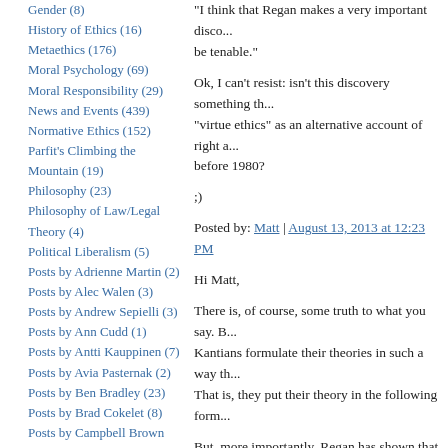Gender (8)
History of Ethics (16)
Metaethics (176)
Moral Psychology (69)
Moral Responsibility (29)
News and Events (439)
Normative Ethics (152)
Parfit's Climbing the Mountain (19)
Philosophy (23)
Philosophy of Law/Legal Theory (4)
Political Liberalism (5)
Posts by Adrienne Martin (2)
Posts by Alec Walen (3)
Posts by Andrew Sepielli (3)
Posts by Ann Cudd (1)
Posts by Antti Kauppinen (7)
Posts by Avia Pasternak (2)
Posts by Ben Bradley (23)
Posts by Brad Cokelet (8)
Posts by Campbell Brown (16)
Posts by Chike Jeffers (1)
Posts by Chris Heathwood (4)
Posts by Chrisoula Andreou (2)
Posts by Christian Coons (2)
Posts by Christian Miller (13)
"I think that Regan makes a very important disco... be tenable."
Ok, I can't resist: isn't this discovery something th... "virtue ethics" as an alternative account of right a... before 1980?
;)
Posted by: Matt | August 13, 2013 at 12:23 PM
Hi Matt,
There is, of course, some truth to what you say. B... Kantians formulate their theories in such a way th... That is, they put their theory in the following form...
But, more importantly, Regan has shown that eve... consequences should not accept an exclusively ac... shown, on theory-neutral grounds, that no exclusi... Regan has shown that regardless of whether we a... anything else, we should not formulate our moral... perform. It must also tell us what attitudes we sho... shown this. And that's why I take Regan's book to...
Posted by: Douglas W. Portmore | August 13, 2013 at 12:4...